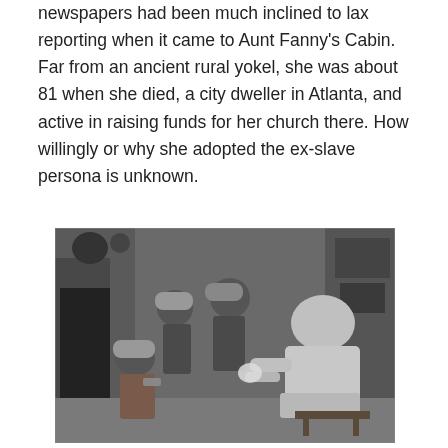newspapers had been much inclined to lax reporting when it came to Aunt Fanny's Cabin. Far from an ancient rural yokel, she was about 81 when she died, a city dweller in Atlanta, and active in raising funds for her church there. How willingly or why she adopted the ex-slave persona is unknown.
[Figure (photo): Black and white photograph showing several people in what appears to be a rustic cabin interior. Three individuals wearing wide-brimmed hats are on the left side, and a larger person in light-colored clothing is seated on the right, appearing to interact with them.]